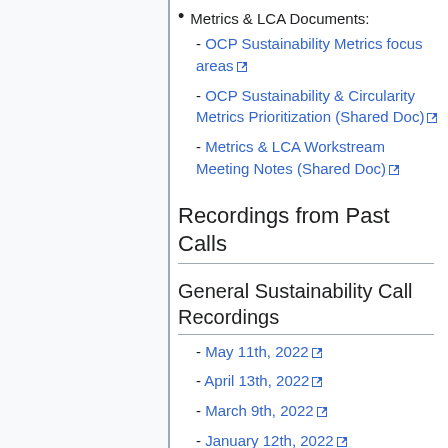Metrics & LCA Documents:
- OCP Sustainability Metrics focus areas [external link]
- OCP Sustainability & Circularity Metrics Prioritization (Shared Doc) [external link]
- Metrics & LCA Workstream Meeting Notes (Shared Doc) [external link]
Recordings from Past Calls
General Sustainability Call Recordings
- May 11th, 2022 [external link]
- April 13th, 2022 [external link]
- March 9th, 2022 [external link]
- January 12th, 2022 [external link]
2021
- December 8th, 2021 [external link]